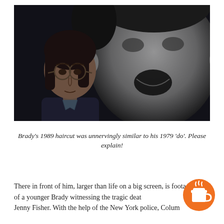[Figure (photo): A dark cinematic still showing a person with medium-length hair and glasses in the foreground (left), and a large blurred black-and-white face with an open mouth screaming in the background (right).]
Brady's 1989 haircut was unnervingly similar to his 1979 'do'. Please explain!
There in front of him, larger than life on a big screen, is footage of a younger Brady witnessing the tragic death of Jenny Fisher. With the help of the New York police, Columbo has got hold of the reel of film from the archive, content telling